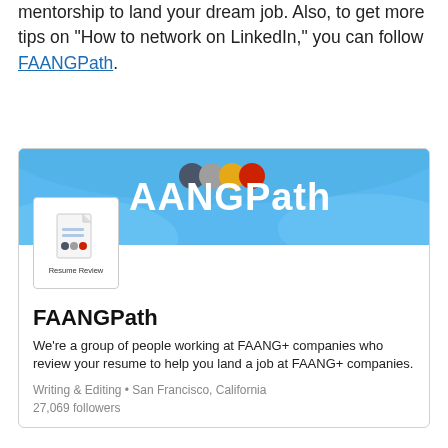mentorship to land your dream job. Also, to get more tips on "How to network on LinkedIn," you can follow FAANGPath.
[Figure (screenshot): FAANGPath LinkedIn company page banner showing blue background with large white 'AANGPath' text and a document/resume review icon logo. Below the banner: company name 'FAANGPath', description 'We're a group of people working at FAANG+ companies who review your resume to help you land a job at FAANG+ companies.', and metadata 'Writing & Editing • San Francisco, California 27,069 followers']